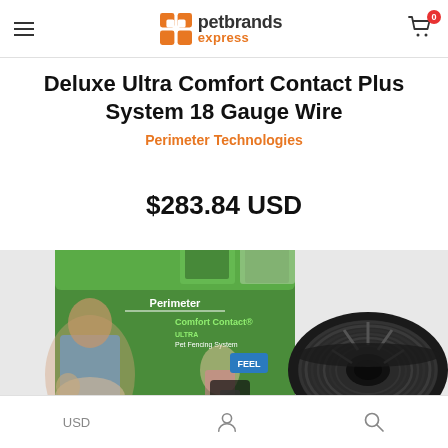petbrands express — navigation header with hamburger menu, logo, and cart (0 items)
Deluxe Ultra Comfort Contact Plus System 18 Gauge Wire
Perimeter Technologies
$283.84 USD
[Figure (photo): Product photo showing a Perimeter Comfort Contact Plus Pet Fencing System box with a man and dog, alongside a large spool of black 18-gauge wire]
USD | Account | Search